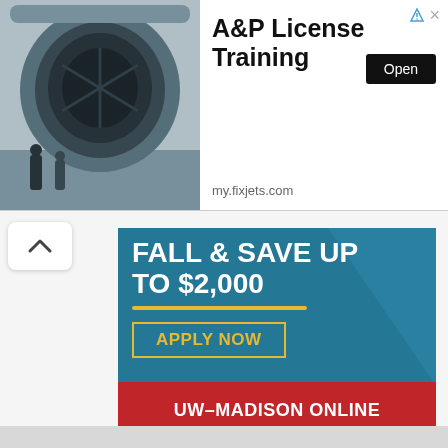[Figure (screenshot): Top banner advertisement for A&P License Training at my.fixjets.com, showing a jet engine photo on the left, bold title text, and a black Open button.]
[Figure (screenshot): UW-Madison Online advertisement with teal background, reading 'FALL & SAVE UP TO $2,000', 'APPLY NOW' button in gold border, and red bar at bottom reading 'UW–MADISON ONLINE'.]
Sponsored by
online.wisc.edu